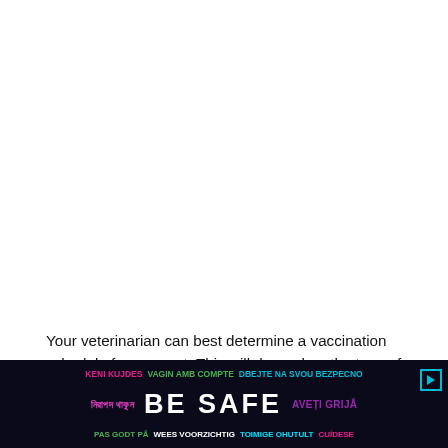Your veterinarian can best determine a vaccination schedule for your pet. This will depend on the type of vaccine, your pets age, medical history, environment and lifestyle.
[Figure (other): Advertisement banner with multilingual safety message 'BE SAFE' in white large text, surrounded by the phrase in multiple languages (Albanian: KENI KUJDES, Catalan: VAGIN AMB COMPTE, Czech: DBEJTE NA SVOU BEZPECNO, Bengali: নিরাপদ থাকুন, Romanian: AVEȚI GRIJĂ, Danish: PAS GODT PÅ, Dutch: WEES VOORZICHTIG, Estonian: TOIMIGE OHUTULT, Irish: CUÍDESE) on a dark navy background with colorful text.]